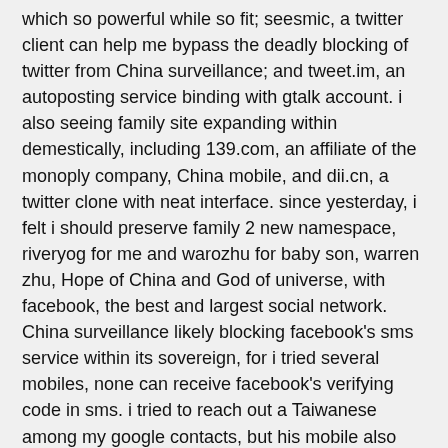which so powerful while so fit; seesmic, a twitter client can help me bypass the deadly blocking of twitter from China surveillance; and tweet.im, an autoposting service binding with gtalk account. i also seeing family site expanding within demestically, including 139.com, an affiliate of the monoply company, China mobile, and dii.cn, a twitter clone with neat interface. since yesterday, i felt i should preserve family 2 new namespace, riveryog for me and warozhu for baby son, warren zhu, Hope of China and God of universe, with facebook, the best and largest social network. China surveillance likely blocking facebook's sms service within its sovereign, for i tried several mobiles, none can receive facebook's verifying code in sms. i tried to reach out a Taiwanese among my google contacts, but his mobile also can't receive my facebook's verifying code.
these weeks mostly sunny days. with God's beam, i like to fly at will. China surveillance blocking more and more famous sites, including google sites, goole apps, tumblr, hellotxt, posterous, and yahoo meme, but i was never daunted, each time i lose an open voice channel, i would try to compensate with new reach out to more brilliant western world sites.